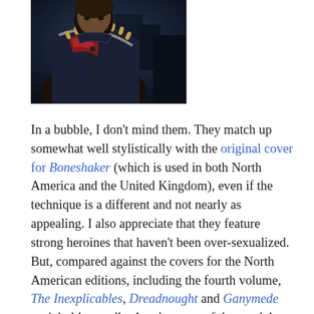[Figure (photo): A partially visible photograph of a person wearing an ornate costume with a bandolier of bullets across their chest and decorative clothing, set against a dark atmospheric background.]
In a bubble, I don't mind them. They match up somewhat well stylistically with the original cover for Boneshaker (which is used in both North America and the United Kingdom), even if the technique is a different and not nearly as appealing. I also appreciate that they feature strong heroines that haven't been over-sexualized. But, compared against the covers for the North American editions, including the fourth volume, The Inexplicables, Dreadnought and Ganymede can't hold a candle. Another case of the pendulum swinging slowly in favour of North America when it comes to covers.